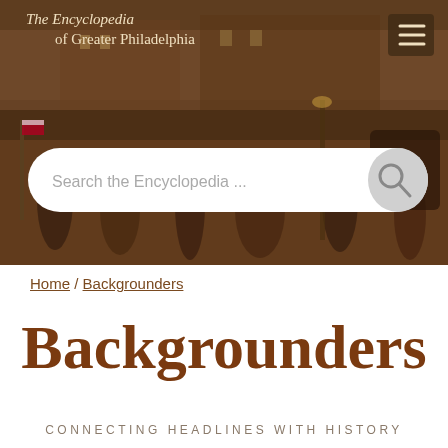[Figure (photo): Website header banner showing a historical painting of a Philadelphia street scene with figures in period dress, overlaid with The Encyclopedia of Greater Philadelphia site title, a hamburger menu icon, and a search bar reading 'Search the Encyclopedia ...']
The Encyclopedia of Greater Philadelphia
Home / Backgrounders
Backgrounders
CONNECTING HEADLINES WITH HISTORY